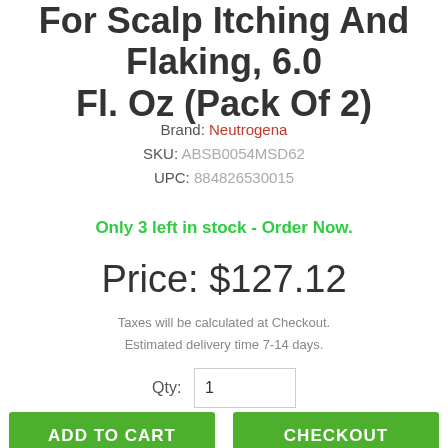For Scalp Itching And Flaking, 6.0 Fl. Oz (Pack Of 2)
Brand: Neutrogena
SKU: ABSB0054MSD62
UPC: 884826530015
Only 3 left in stock - Order Now.
Price: $127.12
Taxes will be calculated at Checkout.
Estimated delivery time 7-14 days.
Qty: 1
ADD TO CART
CHECKOUT
ADD TO WISH LIST
ADD TO COMPARE